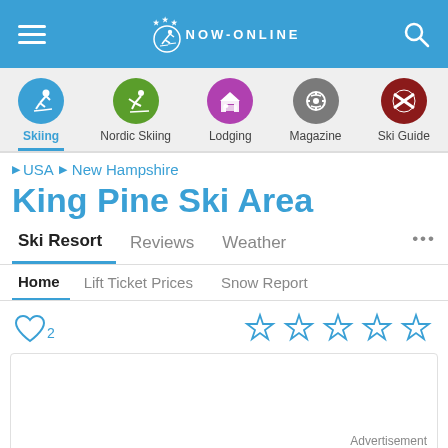NOW-ONLINE
[Figure (screenshot): Navigation icon row with Skiing, Nordic Skiing, Lodging, Magazine, Ski Guide categories]
USA > New Hampshire
King Pine Ski Area
Ski Resort | Reviews | Weather | ...
Home | Lift Ticket Prices | Snow Report
Heart icon with 2 favorites, 5-star rating
Advertisement